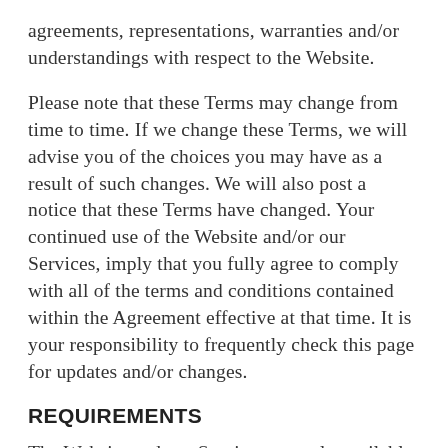agreements, representations, warranties and/or understandings with respect to the Website.
Please note that these Terms may change from time to time. If we change these Terms, we will advise you of the choices you may have as a result of such changes. We will also post a notice that these Terms have changed. Your continued use of the Website and/or our Services, imply that you fully agree to comply with all of the terms and conditions contained within the Agreement effective at that time. It is your responsibility to frequently check this page for updates and/or changes.
REQUIREMENTS
The Website and our Services are only available to individuals who can enter into legally binding contracts under applicable law. The Website and Services are not intended for use by